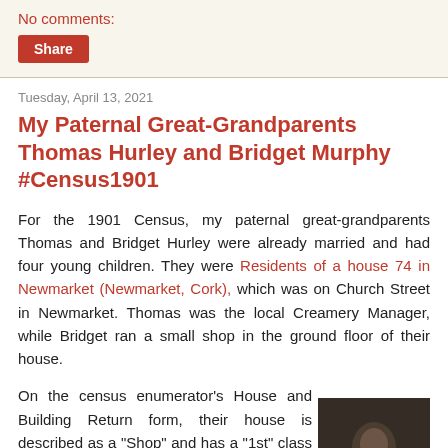No comments:
Share
Tuesday, April 13, 2021
My Paternal Great-Grandparents Thomas Hurley and Bridget Murphy #Census1901
For the 1901 Census, my paternal great-grandparents Thomas and Bridget Hurley were already married and had four young children. They were Residents of a house 74 in Newmarket (Newmarket, Cork), which was on Church Street in Newmarket. Thomas was the local Creamery Manager, while Bridget ran a small shop in the ground floor of their house.
On the census enumerator's House and Building Return form, their house is described as a "Shop" and has a "1st" class rating with a score of "12". This figure was based on adding up scores for
[Figure (photo): Old sepia photograph of people, partially visible in bottom-right corner]